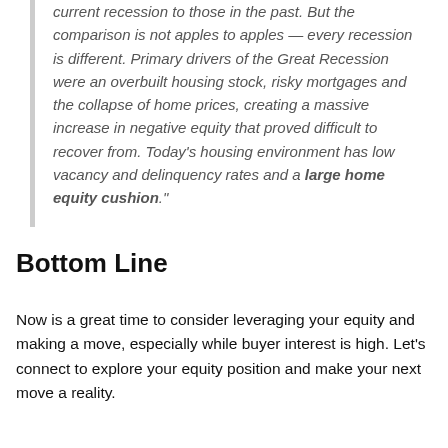current recession to those in the past. But the comparison is not apples to apples — every recession is different. Primary drivers of the Great Recession were an overbuilt housing stock, risky mortgages and the collapse of home prices, creating a massive increase in negative equity that proved difficult to recover from. Today's housing environment has low vacancy and delinquency rates and a large home equity cushion."
Bottom Line
Now is a great time to consider leveraging your equity and making a move, especially while buyer interest is high. Let's connect to explore your equity position and make your next move a reality.